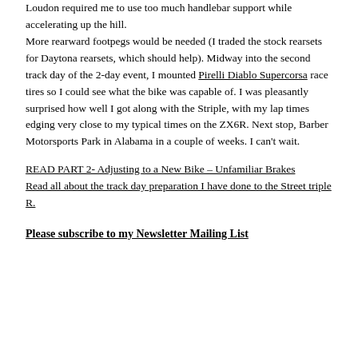Loudon required me to use too much handlebar support while accelerating up the hill. More rearward footpegs would be needed (I traded the stock rearsets for Daytona rearsets, which should help). Midway into the second track day of the 2-day event, I mounted Pirelli Diablo Supercorsa race tires so I could see what the bike was capable of. I was pleasantly surprised how well I got along with the Striple, with my lap times edging very close to my typical times on the ZX6R. Next stop, Barber Motorsports Park in Alabama in a couple of weeks. I can't wait.
READ PART 2- Adjusting to a New Bike – Unfamiliar Brakes
Read all about the track day preparation I have done to the Street triple R.
Please subscribe to my Newsletter Mailing List